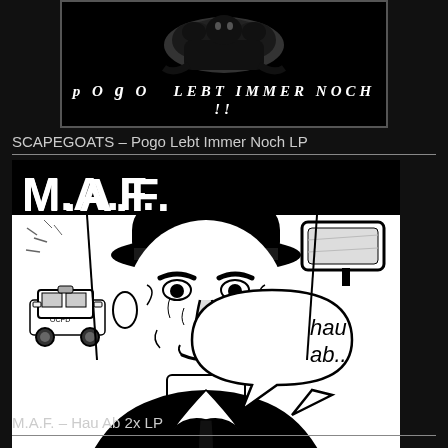[Figure (illustration): Black and white album cover image for SCAPEGOATS - Pogo Lebt Immer Noch LP, showing gargoyle/creature silhouette on black background with text 'pOgO LEBT IMMER NOCH !!']
SCAPEGOATS – Pogo Lebt Immer Noch LP
[Figure (illustration): Black and white album cover art for M.A.F. - Hau Ab 2x LP. Large bold 'M.A.F.' text at top. Illustration of a gruff old man in a hat driving a vehicle, with a speech bubble saying 'hau ab..' and a police car visible in background.]
M.A.F. – Hau Ab 2x LP